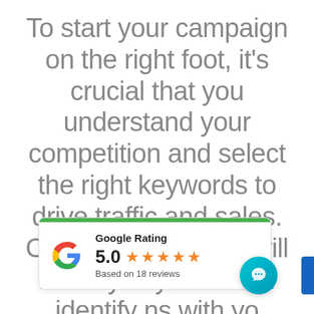To start your campaign on the right foot, it's crucial that you understand your competition and select the right keywords to drive traffic and sales. Our free SEO audit will identify keyword and identify ns with yo website that may be
[Figure (other): Google Rating widget showing 5.0 stars based on 18 reviews, with Google G logo and green top bar]